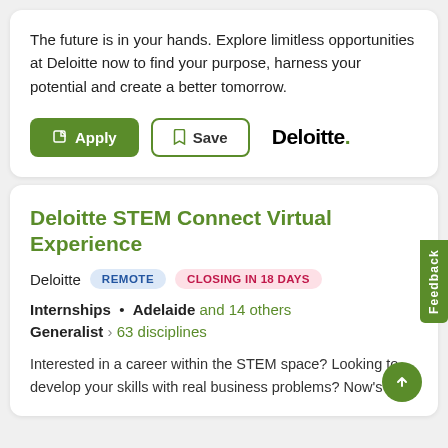The future is in your hands. Explore limitless opportunities at Deloitte now to find your purpose, harness your potential and create a better tomorrow.
[Figure (screenshot): Apply button (green) and Save button (outlined) with Deloitte logo]
Deloitte STEM Connect Virtual Experience
Deloitte  REMOTE  CLOSING IN 18 DAYS
Internships • Adelaide and 14 others
Generalist › 63 disciplines
Interested in a career within the STEM space? Looking to develop your skills with real business problems? Now's